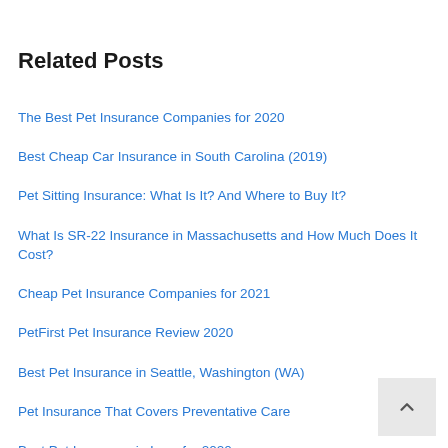Related Posts
The Best Pet Insurance Companies for 2020
Best Cheap Car Insurance in South Carolina (2019)
Pet Sitting Insurance: What Is It? And Where to Buy It?
What Is SR-22 Insurance in Massachusetts and How Much Does It Cost?
Cheap Pet Insurance Companies for 2021
PetFirst Pet Insurance Review 2020
Best Pet Insurance in Seattle, Washington (WA)
Pet Insurance That Covers Preventative Care
Best Pet Insurance in Iowa for 2020
What Is SR-22 Insurance in New York and How Much Does It Cost?